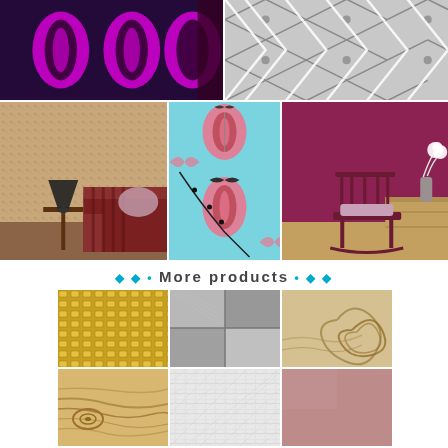[Figure (photo): Grid of wallpaper and interior design product photos - top section with decorative wallpapers and room scenes]
◆ ◆ • More products • ◆ ◆
[Figure (photo): Grid of material/texture product photos - bottom section with wood, metal, and fabric textures]